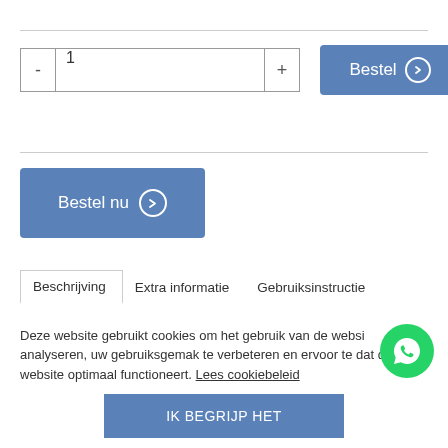[Figure (screenshot): Quantity selector with minus and plus buttons showing value 1, and a blue Bestel button with arrow icon]
[Figure (screenshot): Blue Bestel nu button with right arrow circle icon]
Beschrijving    Extra informatie    Gebruiksinstructie    Beoordeling
Deze website gebruikt cookies om het gebruik van de website te analyseren, uw gebruiksgemak te verbeteren en ervoor te zorgen dat de website optimaal functioneert. Lees cookiebeleid
[Figure (other): WhatsApp green circle chat button]
IK BEGRIJP HET